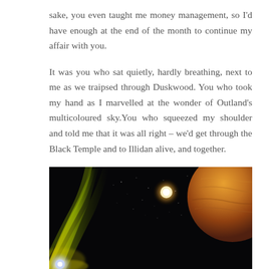sake, you even taught me money management, so I'd have enough at the end of the month to continue my affair with you.
It was you who sat quietly, hardly breathing, next to me as we traipsed through Duskwood. You who took my hand as I marvelled at the wonder of Outland's multicoloured sky.You who squeezed my shoulder and told me that it was all right – we'd get through the Black Temple and to Illidan alive, and together.
[Figure (illustration): A space scene showing bright yellow-green aurora-like light streaks on the left, a dark starfield in the center with a glowing sun/star, and a large orange-brown planet on the right, with a bright object at the bottom left.]